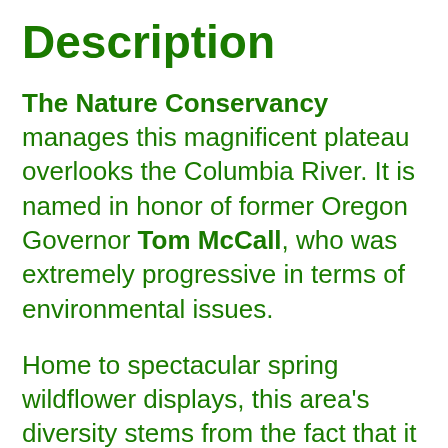Description
The Nature Conservancy manages this magnificent plateau overlooks the Columbia River. It is named in honor of former Oregon Governor Tom McCall, who was extremely progressive in terms of environmental issues.
Home to spectacular spring wildflower displays, this area's diversity stems from the fact that it lies in the transition zone between the moist, heavily-